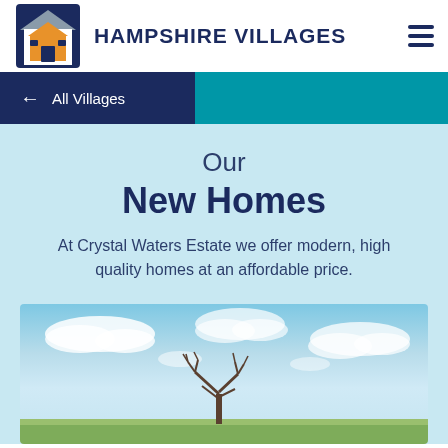HAMPSHIRE VILLAGES
← All Villages
Our New Homes
At Crystal Waters Estate we offer modern, high quality homes at an affordable price.
[Figure (photo): Exterior photo of a new home with blue sky, clouds, and trees in the foreground]